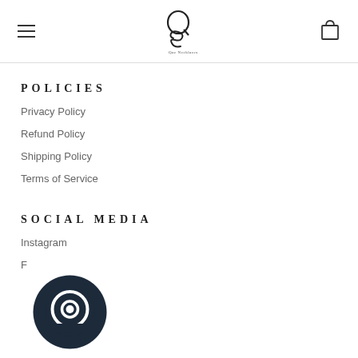Que Necklaces - navigation header with hamburger menu, logo, and cart icon
POLICIES
Privacy Policy
Refund Policy
Shipping Policy
Terms of Service
SOCIAL MEDIA
Instagram
Facebook
[Figure (logo): Dark circular chat bubble / messenger icon overlay at bottom left]